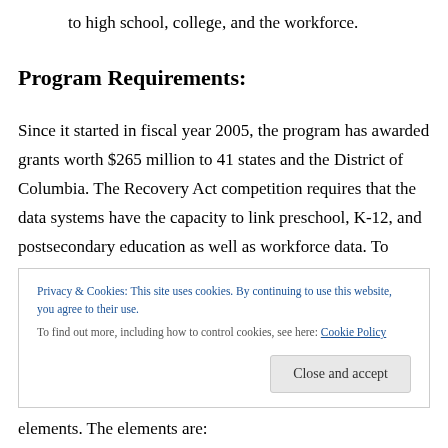to high school, college, and the workforce.
Program Requirements:
Since it started in fiscal year 2005, the program has awarded grants worth $265 million to 41 states and the District of Columbia. The Recovery Act competition requires that the data systems have the capacity to link preschool, K-12, and postsecondary education as well as workforce data. To receive State Fiscal Stabilization Fund...
Privacy & Cookies: This site uses cookies. By continuing to use this website, you agree to their use. To find out more, including how to control cookies, see here: Cookie Policy
Close and accept
elements. The elements are: